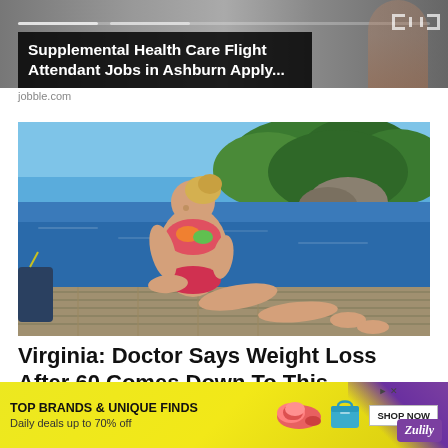[Figure (screenshot): Advertisement banner showing a dark semi-transparent overlay on a photo background with text 'Supplemental Health Care Flight Attendant Jobs in Ashburn Apply...' in white bold text]
jobble.com
[Figure (photo): Woman in a colorful bikini sitting on a wooden dock by a calm blue lake, with forested rocky shores in the background. She has blonde hair and is looking down.]
Virginia: Doctor Says Weight Loss After 60 Comes Down To This
[Figure (screenshot): Advertisement banner for Zulily: 'TOP BRANDS & UNIQUE FINDS' with 'Daily deals up to 70% off', showing a shoe, a bag, a SHOP NOW button, and the Zulily logo on a yellow background with purple corner.]